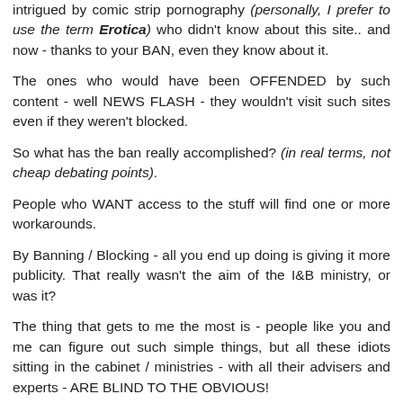intrigued by comic strip pornography (personally, I prefer to use the term Erotica) who didn't know about this site.. and now - thanks to your BAN, even they know about it.
The ones who would have been OFFENDED by such content - well NEWS FLASH - they wouldn't visit such sites even if they weren't blocked.
So what has the ban really accomplished? (in real terms, not cheap debating points).
People who WANT access to the stuff will find one or more workarounds.
By Banning / Blocking - all you end up doing is giving it more publicity. That really wasn't the aim of the I&B ministry, or was it?
The thing that gets to me the most is - people like you and me can figure out such simple things, but all these idiots sitting in the cabinet / ministries - with all their advisers and experts - ARE BLIND TO THE OBVIOUS!
It's extremely disappointing.